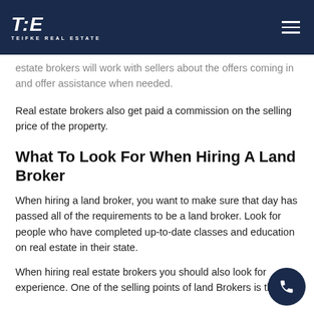TRE TEIFKE REAL ESTATE
estate brokers will work with sellers about the offers coming in and offer assistance when needed.
Real estate brokers also get paid a commission on the selling price of the property.
What To Look For When Hiring A Land Broker
When hiring a land broker, you want to make sure that day has passed all of the requirements to be a land broker. Look for people who have completed up-to-date classes and education on real estate in their state.
When hiring real estate brokers you should also look for experience. One of the selling points of land Brokers is that